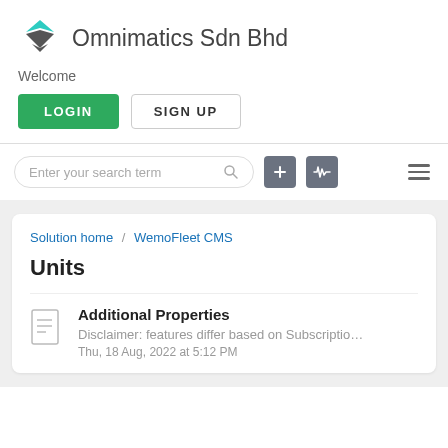[Figure (logo): Omnimatics Sdn Bhd logo — hexagonal icon with teal top and dark gray bottom, followed by company name text]
Welcome
[Figure (screenshot): Two buttons: green LOGIN button and outlined SIGN UP button]
[Figure (screenshot): Search bar with placeholder 'Enter your search term', a plus icon button, a waveform icon button, and a hamburger menu icon]
Solution home / WemoFleet CMS
Units
Additional Properties
Disclaimer: features differ based on Subscription Plan Some typ...
Thu, 18 Aug, 2022 at 5:12 PM